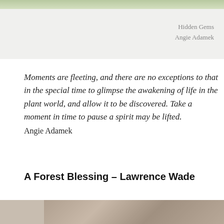[Figure (photo): Top strip of a nature/plant photo, cropped at top of page]
Hidden Gems
Angie Adamek
Moments are fleeting, and there are no exceptions to that in the special time to glimpse the awakening of life in the plant world, and allow it to be discovered. Take a moment in time to pause a spirit may be lifted.
Angie Adamek
A Forest Blessing – Lawrence Wade
[Figure (photo): Bottom strip of a forest/nature photo showing hands or carved wood texture]